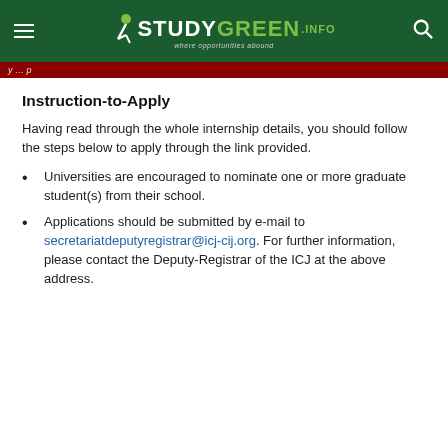STUDYGREEN .INFO — where opportunities abound
y … p
Instruction-to-Apply
Having read through the whole internship details, you should follow the steps below to apply through the link provided.
Universities are encouraged to nominate one or more graduate student(s) from their school.
Applications should be submitted by e -mail to secretariatdeputyregistrar@icj-cij.org. For further information, please contact the Deputy-Registrar of the ICJ at the above address.